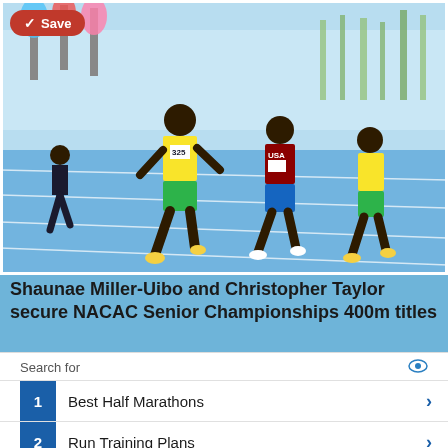[Figure (photo): Track and field race photo showing runners on a blue track. A Jamaican athlete in yellow and green uniform (#325) leads at the finish line, with a USA athlete in red/blue uniform and another Jamaican athlete close behind. Colorful flags and banners visible in background.]
Shaunae Miller-Uibo and Christopher Taylor secure NACAC Senior Championships 400m titles
Search for
1  Best Half Marathons
2  Run Training Plans